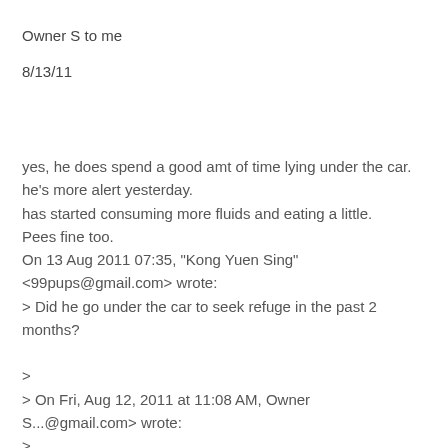Owner S to me
8/13/11
yes, he does spend a good amt of time lying under the car.
he's more alert yesterday.
has started consuming more fluids and eating a little.
Pees fine too.
On 13 Aug 2011 07:35, "Kong Yuen Sing" <99pups@gmail.com> wrote:
> Did he go under the car to seek refuge in the past 2 months?
>
> On Fri, Aug 12, 2011 at 11:08 AM, Owner S...@gmail.com> wrote:
>
>> Hi Dr Sing,
>>
>> Tobi's much more alert and not hazy-dazy anymore.